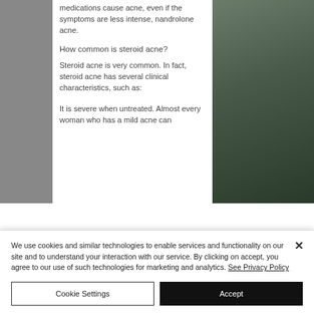medications cause acne, even if the symptoms are less intense, nandrolone acne.
How common is steroid acne?
Steroid acne is very common. In fact, steroid acne has several clinical characteristics, such as:
It is severe when untreated. Almost every woman who has a mild acne can
[Figure (photo): Partial view of a car interior or exterior with dark foliage/plants visible, dark tones]
We use cookies and similar technologies to enable services and functionality on our site and to understand your interaction with our service. By clicking on accept, you agree to our use of such technologies for marketing and analytics. See Privacy Policy